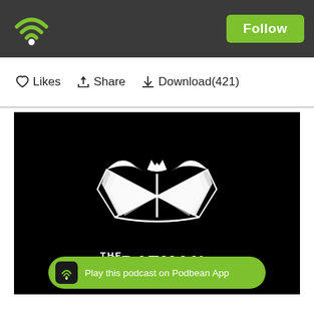[Figure (logo): Podbean green wifi/podcast icon logo in dark header bar]
Follow
♡ Likes   Share   Download(421)
[Figure (logo): The Batman Book Club podcast artwork: white stylized Batman logo combined with an open book on black background, with 'THE BATMAN' text below]
Play this podcast on Podbean App